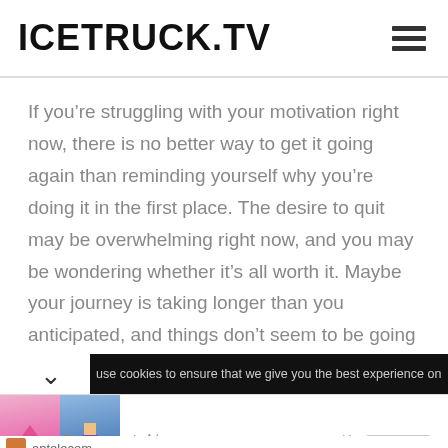ICETRUCK.TV
If you’re struggling with your motivation right now, there is no better way to get it going again than reminding yourself why you’re doing it in the first place. The desire to quit may be overwhelming right now, and you may be wondering whether it’s all worth it. Maybe your journey is taking longer than you anticipated, and things don’t seem to be going according to plan, that you’ve lost faith in yourself and lost sight of what you were after.
use cookies to ensure that we give you the best experience on
[Figure (screenshot): Mobile advertisement banner for APGAME STUDIO showing game screenshots (house and archer character) with an Open button]
aptelecom